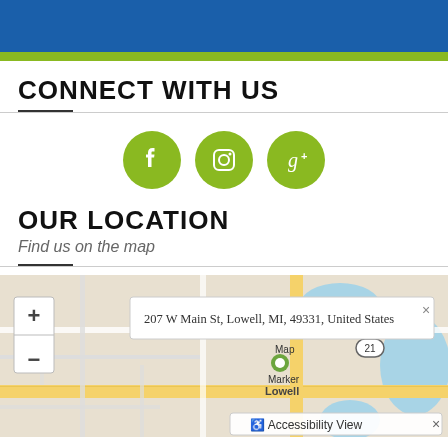CONNECT WITH US
[Figure (infographic): Three green circular social media icons: Facebook (f), Instagram (camera), Google+ (g)]
OUR LOCATION
Find us on the map
[Figure (map): Google-style street map showing 207 W Main St, Lowell, MI, 49331, United States with a location marker, zoom controls (+/-), route 21 marker, and Accessibility View button]